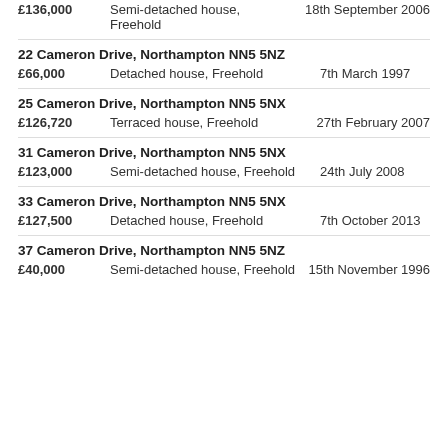£136,000  Semi-detached house, Freehold  18th September 2006
22 Cameron Drive, Northampton NN5 5NZ
£66,000  Detached house, Freehold  7th March 1997
25 Cameron Drive, Northampton NN5 5NX
£126,720  Terraced house, Freehold  27th February 2007
31 Cameron Drive, Northampton NN5 5NX
£123,000  Semi-detached house, Freehold  24th July 2008
33 Cameron Drive, Northampton NN5 5NX
£127,500  Detached house, Freehold  7th October 2013
37 Cameron Drive, Northampton NN5 5NZ
£40,000  Semi-detached house, Freehold  15th November 1996